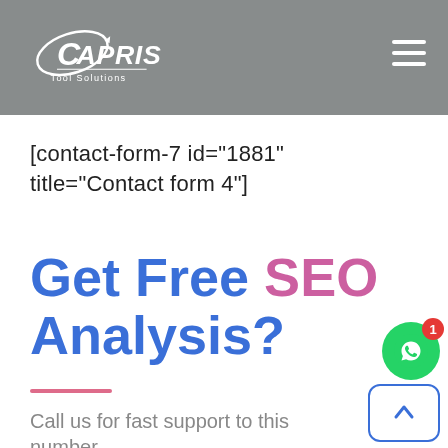[Figure (logo): Capris Tool Solutions logo — white swoosh/orbit design around letter C, 'CAPRIS' in bold white italic text, 'Tool Solutions' subtitle below, on grey background]
[contact-form-7 id="1881" title="Contact form 4"]
Get Free SEO Analysis?
Call us for fast support to this number.